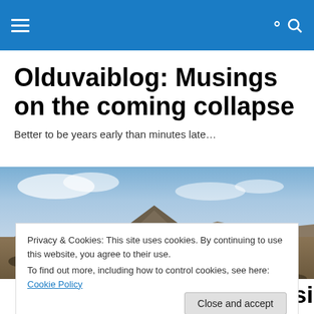Olduvaiblog navigation bar
Olduvaiblog: Musings on the coming collapse
Better to be years early than minutes late…
[Figure (photo): Panoramic landscape photo showing a desert scrubland scene with a low mountain or butte in the background under a partly cloudy sky.]
Privacy & Cookies: This site uses cookies. By continuing to use this website, you agree to their use.
To find out more, including how to control cookies, see here: Cookie Policy
Close and accept
Recording: 8 Million Russians